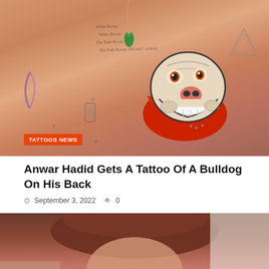[Figure (photo): Close-up photo of Anwar Hadid's back showing multiple tattoos including a colorful traditional-style bulldog tattoo with a red spiked collar, script tattoos, a geometric triangle tattoo, and a green teardrop pendant necklace visible at the top. An orange badge reading 'TATTOOS NEWS' overlays the bottom-left of the image.]
Anwar Hadid Gets A Tattoo Of A Bulldog On His Back
September 3, 2022  0
[Figure (photo): Partially visible photo below the article headline, showing a close-up of what appears to be a person's face or upper body, cropped at the bottom of the page.]